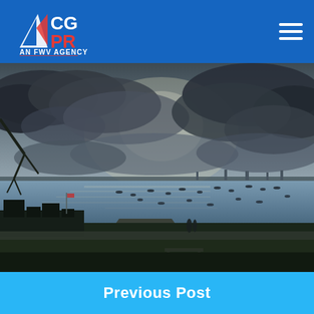CGPR AN FWV AGENCY
[Figure (photo): Harbor scene with boats on water, gazebo and benches on grassy shore, dramatic cloudy sky with silver light breaking through clouds]
Previous Post